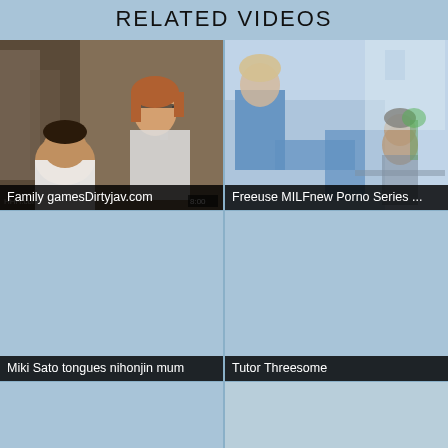RELATED VIDEOS
[Figure (photo): Video thumbnail: Family gamesDirtyjav.com - people in a scene]
Family gamesDirtyjav.com
[Figure (photo): Video thumbnail: Freeuse MILFnew Porno Series ... - light blue toned scene]
Freeuse MILFnew Porno Series ...
[Figure (photo): Video thumbnail: Miki Sato tongues nihonjin mum - blank/loading]
Miki Sato tongues nihonjin mum
[Figure (photo): Video thumbnail: Tutor Threesome - blank/loading]
Tutor Threesome